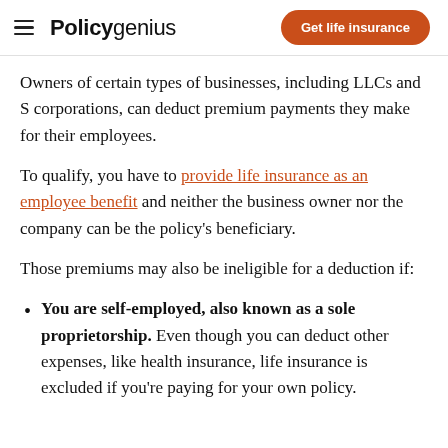Policygenius | Get life insurance
Owners of certain types of businesses, including LLCs and S corporations, can deduct premium payments they make for their employees.
To qualify, you have to provide life insurance as an employee benefit and neither the business owner nor the company can be the policy's beneficiary.
Those premiums may also be ineligible for a deduction if:
You are self-employed, also known as a sole proprietorship. Even though you can deduct other expenses, like health insurance, life insurance is excluded if you're paying for your own policy.